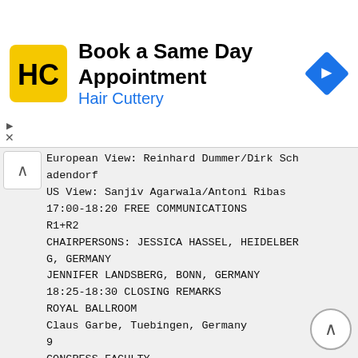[Figure (logo): Hair Cuttery ad banner with logo, text 'Book a Same Day Appointment' and 'Hair Cuttery', and a navigation arrow icon]
European View: Reinhard Dummer/Dirk Schadendorf
US View: Sanjiv Agarwala/Antoni Ribas
17:00-18:20 FREE COMMUNICATIONS
R1+R2
CHAIRPERSONS: JESSICA HASSEL, HEIDELBERG, GERMANY
JENNIFER LANDSBERG, BONN, GERMANY
18:25-18:30 CLOSING REMARKS
ROYAL BALLROOM
Claus Garbe, Tuebingen, Germany
9
CONGRESS FACULTY
A
Sanjiv S. Agarwala , MD
Professor of Medicine
St. Lukes Cancer Center, Temple University
2145 Augusta DR